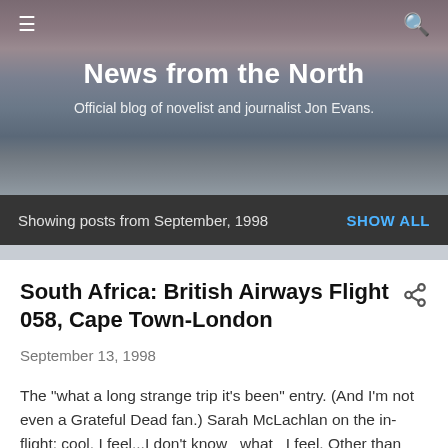News from the North
Official blog of novelist and journalist Jon Evans.
Showing posts from September, 1998   SHOW ALL
South Africa: British Airways Flight 058, Cape Town-London
September 13, 1998
The "what a long strange trip it's been" entry. (And I'm not even a Grateful Dead fan.) Sarah McLachlan on the in-flight: cool. I feel...I don't know _what_ I feel. Other than turbulence (several kinds, he echoed). Flattened affect. Maybe Africa for once...